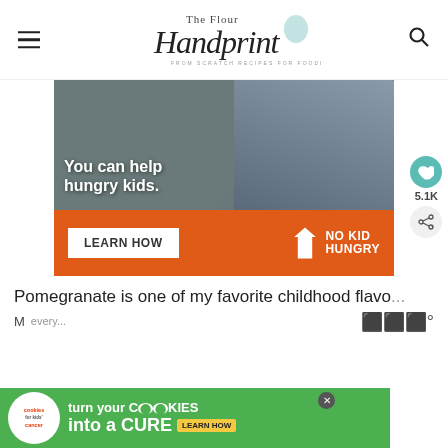The Flour Handprint — FROM SCRATCH RECIPES FOR FOODIES AND THEIR FAMILIES
[Figure (photo): No Kid Hungry advertisement banner showing a young boy eating, with text 'You can help hungry kids.' and a LEARN HOW button and No Kid Hungry logo on an orange background.]
Pomegranate is one of my favorite childhood flavo...
[Figure (photo): Cookies for Kids' Cancer advertisement: 'turn your Cookies into a CURE LEARN HOW' on a green background.]